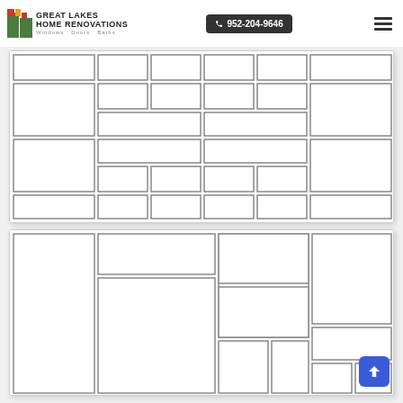Great Lakes Home Renovations — Windows Doors Baths | 952-204-9646
[Figure (illustration): Tile pattern diagram showing a basketweave/ashlar tile layout with rectangular tiles arranged in alternating horizontal and vertical groups, outlined in gray on white background]
[Figure (illustration): Tile pattern diagram showing a large-format tile layout with tall vertical and wide horizontal rectangles arranged in a staggered pattern, outlined in gray on white background]